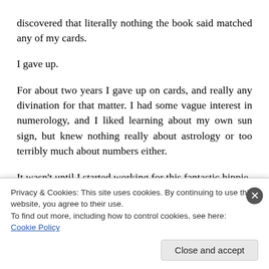discovered that literally nothing the book said matched any of my cards.
I gave up.
For about two years I gave up on cards, and really any divination for that matter. I had some vague interest in numerology, and I liked learning about my own sun sign, but knew nothing really about astrology or too terribly much about numbers either.
It wasn't until I started working for this fantastic hippie
Privacy & Cookies: This site uses cookies. By continuing to use this website, you agree to their use.
To find out more, including how to control cookies, see here:
Cookie Policy
Close and accept